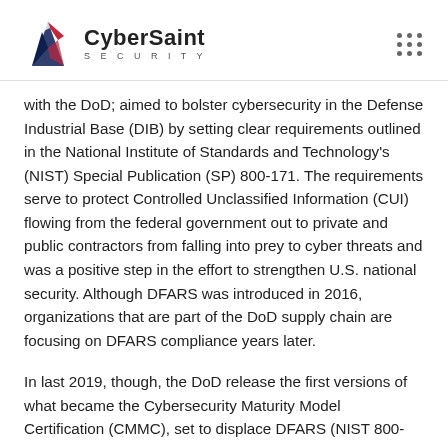CyberSaint SECURITY
with the DoD; aimed to bolster cybersecurity in the Defense Industrial Base (DIB) by setting clear requirements outlined in the National Institute of Standards and Technology's (NIST) Special Publication (SP) 800-171. The requirements serve to protect Controlled Unclassified Information (CUI) flowing from the federal government out to private and public contractors from falling into prey to cyber threats and was a positive step in the effort to strengthen U.S. national security. Although DFARS was introduced in 2016, organizations that are part of the DoD supply chain are focusing on DFARS compliance years later.
In last 2019, though, the DoD release the first versions of what became the Cybersecurity Maturity Model Certification (CMMC), set to displace DFARS (NIST 800-